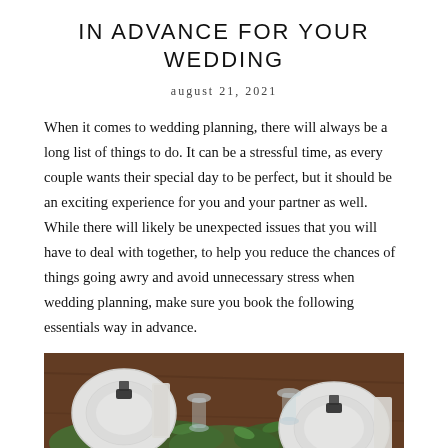IN ADVANCE FOR YOUR WEDDING
august 21, 2021
When it comes to wedding planning, there will always be a long list of things to do. It can be a stressful time, as every couple wants their special day to be perfect, but it should be an exciting experience for you and your partner as well. While there will likely be unexpected issues that you will have to deal with together, to help you reduce the chances of things going awry and avoid unnecessary stress when wedding planning, make sure you book the following essentials way in advance.
[Figure (photo): A wedding table setting with white plates, greenery garland, candles, and glassware on a wooden table, viewed from above at an angle.]